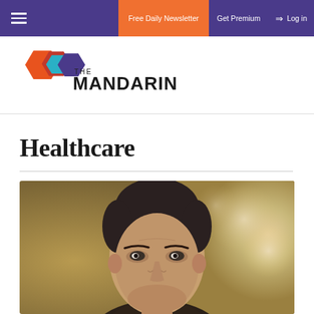Free Daily Newsletter  Get Premium  Log in
[Figure (logo): The Mandarin logo with geometric orange, red, teal, and purple hexagonal shapes and the text THE MANDARIN]
Healthcare
[Figure (photo): Close-up portrait of a man with short dark grey hair against a blurred warm background]